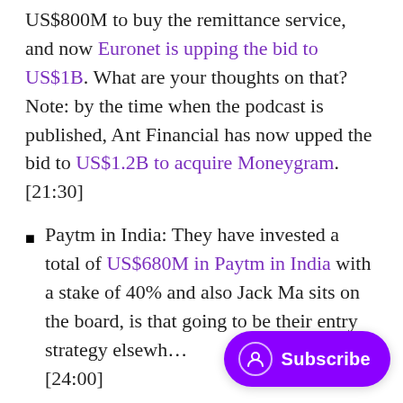US$800M to buy the remittance service, and now Euronet is upping the bid to US$1B. What are your thoughts on that? Note: by the time when the podcast is published, Ant Financial has now upped the bid to US$1.2B to acquire Moneygram. [21:30]
Paytm in India: They have invested a total of US$680M in Paytm in India with a stake of 40% and also Jack Ma sits on the board, is that going to be their entry strategy elsewhere [24:00]